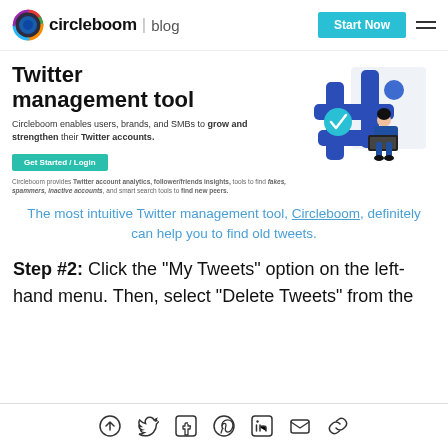circleboom | blog — Start Now
[Figure (screenshot): Circleboom Twitter management tool website screenshot showing title 'Twitter management tool', subtitle text, Get Started/Login button, and hashtag illustration with person]
The most intuitive Twitter management tool, Circleboom, definitely can help you to find old tweets.
Step #2: Click the "My Tweets" option on the left-hand menu. Then, select "Delete Tweets" from the
social share icons: up-arrow, twitter, facebook, pinterest, linkedin, mail, link